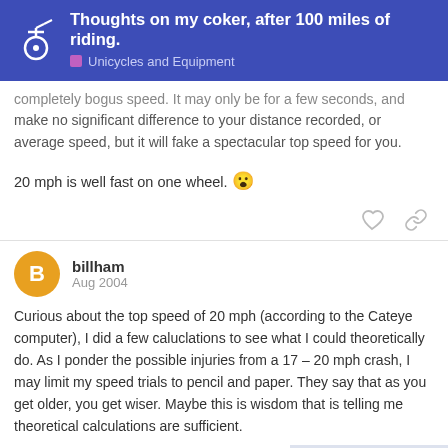Thoughts on my coker, after 100 miles of riding. Unicycles and Equipment
completely bogus speed. It may only be for a few seconds, and make no significant difference to your distance recorded, or average speed, but it will fake a spectacular top speed for you.
20 mph is well fast on one wheel. 😲
billham Aug 2004
Curious about the top speed of 20 mph (according to the Cateye computer), I did a few caluclations to see what I could theoretically do. As I ponder the possible injuries from a 17 – 20 mph crash, I may limit my speed trials to pencil and paper. They say that as you get older, you get wiser. Maybe this is wisdom that is telling me theoretical calculations are sufficient.
So you can correct me if I am wrong, here are the following numbers:
9 / 20